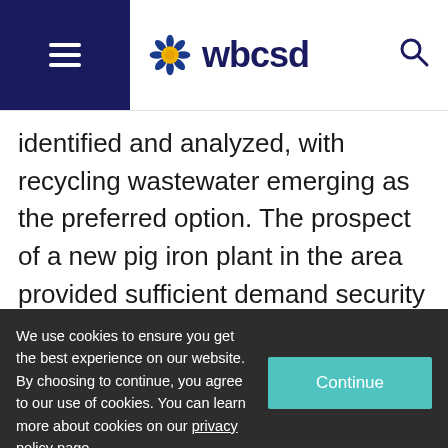wbcsd
identified and analyzed, with recycling wastewater emerging as the preferred option. The prospect of a new pig iron plant in the area provided sufficient demand security to enable investment in the Kwinana Water Recycling Plant
We use cookies to ensure you get the best experience on our website. By choosing to continue, you agree to our use of cookies. You can learn more about cookies on our privacy policy page.